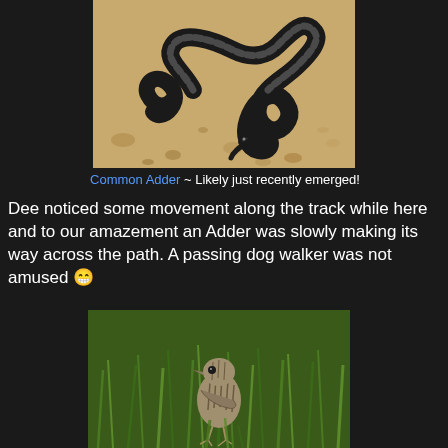[Figure (photo): Photograph of a Common Adder (snake) coiled on sandy/gravelly ground, dark pattern with zigzag markings visible]
Common Adder ~ Likely just recently emerged!
Dee noticed some movement along the track while here and to our amazement an Adder was slowly making its way across the path. A passing dog walker was not amused 😁
[Figure (photo): Photograph of a small streaked brown bird (likely a juvenile or young bird) standing in tall green grass]